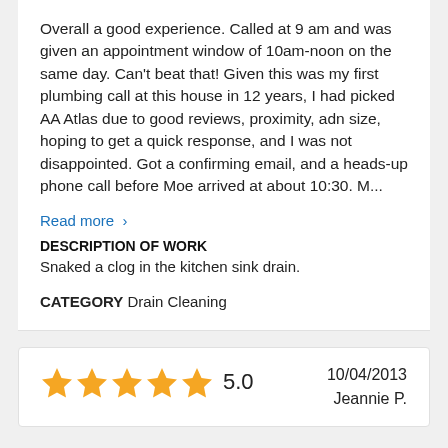Overall a good experience. Called at 9 am and was given an appointment window of 10am-noon on the same day. Can't beat that! Given this was my first plumbing call at this house in 12 years, I had picked AA Atlas due to good reviews, proximity, adn size, hoping to get a quick response, and I was not disappointed. Got a confirming email, and a heads-up phone call before Moe arrived at about 10:30. M...
Read more >
DESCRIPTION OF WORK
Snaked a clog in the kitchen sink drain.
CATEGORY Drain Cleaning
[Figure (other): 5 gold stars rating with score 5.0, date 10/04/2013 and reviewer name Jeannie P.]